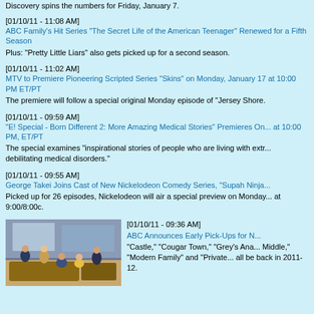Discovery spins the numbers for Friday, January 7.
[01/10/11 - 11:08 AM]
ABC Family's Hit Series "The Secret Life of the American Teenager" Renewed for a Fifth Season
Plus: "Pretty Little Liars" also gets picked up for a second season.
[01/10/11 - 11:02 AM]
MTV to Premiere Pioneering Scripted Series "Skins" on Monday, January 17 at 10:00 PM ET/PT
The premiere will follow a special original Monday episode of "Jersey Shore.
[01/10/11 - 09:59 AM]
"E! Special - Born Different 2: More Amazing Medical Stories" Premieres On... at 10:00 PM, ET/PT
The special examines "inspirational stories of people who are living with extr... debilitating medical disorders."
[01/10/11 - 09:55 AM]
George Takei Joins Cast of New Nickelodeon Comedy Series, "Supah Ninja...
Picked up for 26 episodes, Nickelodeon will air a special preview on Monday... at 9:00/8:00c.
[Figure (photo): Group of people in a TV studio or living room set, appearing to be cast members of a TV show]
[01/10/11 - 09:36 AM]
ABC Announces Early Pick-Ups for N...
"Castle," "Cougar Town," "Grey's Ana... Middle," "Modern Family" and "Private... all be back in 2011-12.